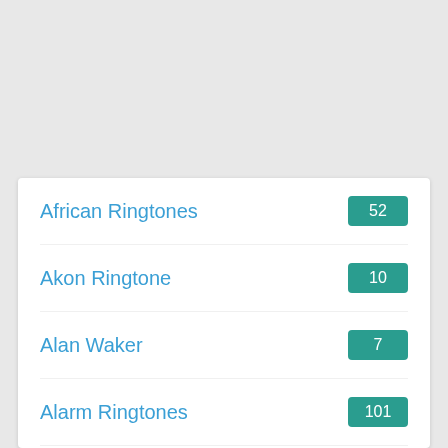African Ringtones 52
Akon Ringtone 10
Alan Waker 7
Alarm Ringtones 101
All Language's 29627
Alternative Ringtones 979